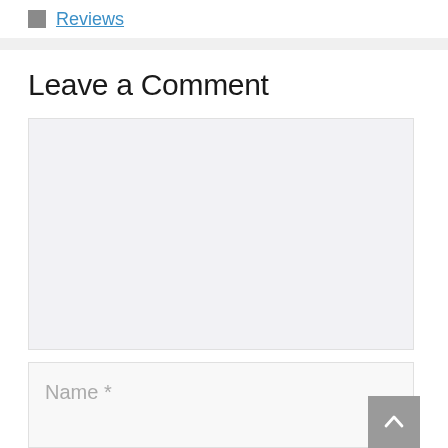Reviews
Leave a Comment
[Figure (screenshot): Empty comment textarea input box with light gray background]
Name *